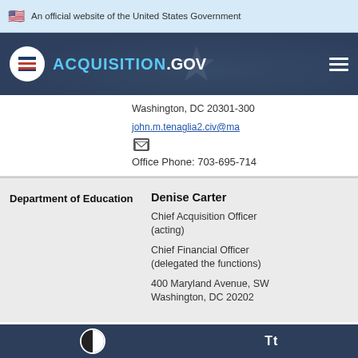An official website of the United States Government
[Figure (logo): Acquisition.gov logo with navigation header on dark blue background]
Washington, DC 20301-300
john.m.tenaglia2.civ@ma
Office Phone: 703-695-714
| Agency | Contact Info |
| --- | --- |
| Department of Education | Denise Carter
Chief Acquisition Officer (acting)
Chief Financial Officer (delegated the functions)
400 Maryland Avenue, SW
Washington, DC 20202 |
Tt